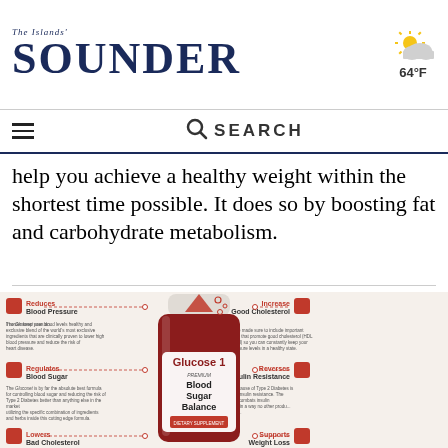THE ISLANDS' SOUNDER | 64°F
help you achieve a healthy weight within the shortest time possible. It does so by boosting fat and carbohydrate metabolism.
[Figure (infographic): Glucose 1 Blood Sugar Balance supplement bottle infographic showing benefits: Reduces Blood Pressure, Increases Good Cholesterol, Regulates Blood Sugar, Reverses Insulin Resistance, Lowers Bad Cholesterol, Supports Weight Loss. Dashed lines connect benefit boxes to the central supplement bottle image.]